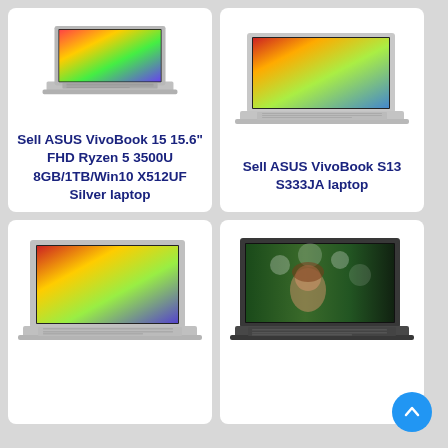[Figure (photo): ASUS VivoBook 15 laptop open, showing colorful gradient screen, silver body, angled view]
Sell ASUS VivoBook 15 15.6" FHD Ryzen 5 3500U 8GB/1TB/Win10 X512UF Silver laptop
[Figure (photo): ASUS VivoBook S13 S333JA laptop open, showing colorful gradient screen, silver/white body, angled view]
Sell ASUS VivoBook S13 S333JA laptop
[Figure (photo): ASUS VivoBook laptop open, showing colorful gradient screen, silver body, angled view, bottom row left]
[Figure (photo): Dark laptop open, showing screen with woman among flowers, bottom row right]